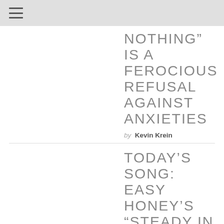☰
NOTHING” IS A FEROCIOUS REFUSAL AGAINST ANXIETIES
by Kevin Krein
TODAY’S SONG: EASY HONEY’S “STEADY IN VERTIGO” IS A